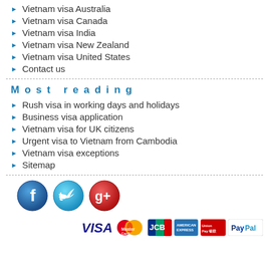Vietnam visa Australia
Vietnam visa Canada
Vietnam visa India
Vietnam visa New Zealand
Vietnam visa United States
Contact us
Most reading
Rush visa in working days and holidays
Business visa application
Vietnam visa for UK citizens
Urgent visa to Vietnam from Cambodia
Vietnam visa exceptions
Sitemap
[Figure (logo): Social media icons: Facebook, Twitter, Google+]
[Figure (logo): Payment icons: VISA, MasterCard, JCB, American Express, UnionPay, PayPal]